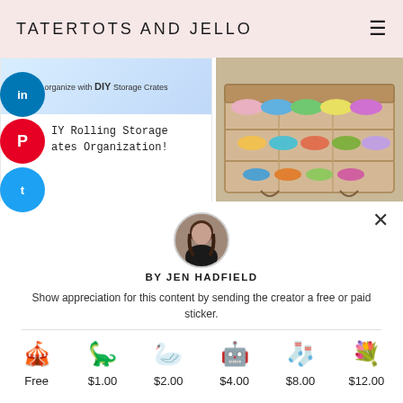TATERTOTS AND JELLO
[Figure (screenshot): Blog post thumbnail with text: organize with DIY Storage Crates, DIY Rolling Storage Crates Organization!]
[Figure (photo): Photo of washi tape rolls stored in a wooden box organizer]
[Figure (photo): Circular avatar photo of Jen Hadfield, a woman with long brown hair]
BY JEN HADFIELD
Show appreciation for this content by sending the creator a free or paid sticker.
[Figure (infographic): Row of 6 stickers with prices: Free (party/circus sticker), $1.00 (green dinosaur), $2.00 (gold origami crane), $4.00 (blue robot), $8.00 (blue knitted sock), $12.00 (flower bouquet)]